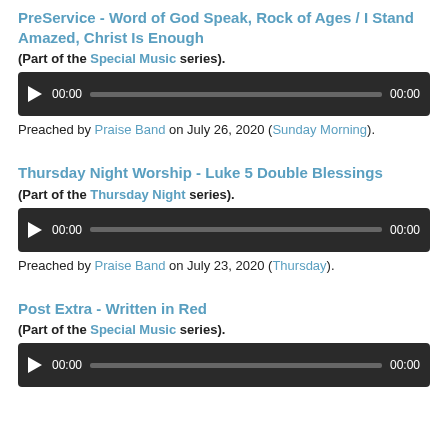PreService - Word of God Speak, Rock of Ages / I Stand Amazed, Christ Is Enough
(Part of the Special Music series).
[Figure (other): Audio player with play button, 00:00 start time, progress bar, 00:00 end time]
Preached by Praise Band on July 26, 2020 (Sunday Morning).
Thursday Night Worship - Luke 5 Double Blessings
(Part of the Thursday Night series).
[Figure (other): Audio player with play button, 00:00 start time, progress bar, 00:00 end time]
Preached by Praise Band on July 23, 2020 (Thursday).
Post Extra - Written in Red
(Part of the Special Music series).
[Figure (other): Audio player with play button, 00:00 start time, progress bar, 00:00 end time]